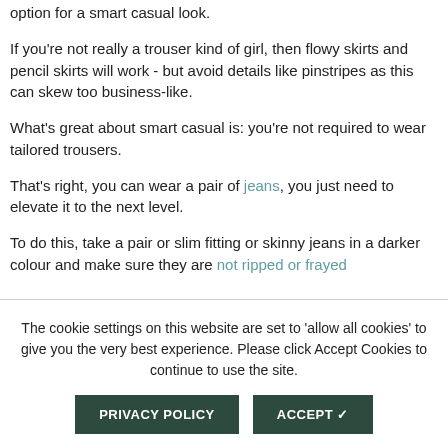option for a smart casual look.
If you're not really a trouser kind of girl, then flowy skirts and pencil skirts will work - but avoid details like pinstripes as this can skew too business-like.
What's great about smart casual is: you're not required to wear tailored trousers.
That's right, you can wear a pair of jeans, you just need to elevate it to the next level.
To do this, take a pair or slim fitting or skinny jeans in a darker colour and make sure they are not ripped or frayed.
The cookie settings on this website are set to 'allow all cookies' to give you the very best experience. Please click Accept Cookies to continue to use the site.